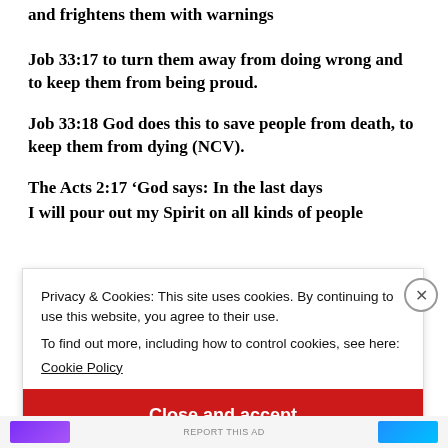and frightens them with warnings
Job 33:17 to turn them away from doing wrong and to keep them from being proud.
Job 33:18 God does this to save people from death, to keep them from dying (NCV).
The Acts 2:17 ‘God says: In the last days
I will pour out my Spirit on all kinds of people
Privacy & Cookies: This site uses cookies. By continuing to use this website, you agree to their use.
To find out more, including how to control cookies, see here:
Cookie Policy
Close and accept